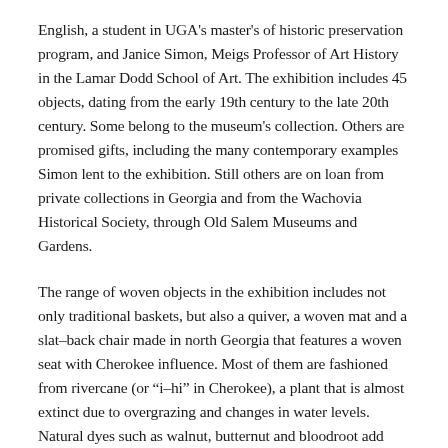English, a student in UGA's master's of historic preservation program, and Janice Simon, Meigs Professor of Art History in the Lamar Dodd School of Art. The exhibition includes 45 objects, dating from the early 19th century to the late 20th century. Some belong to the museum's collection. Others are promised gifts, including the many contemporary examples Simon lent to the exhibition. Still others are on loan from private collections in Georgia and from the Wachovia Historical Society, through Old Salem Museums and Gardens.
The range of woven objects in the exhibition includes not only traditional baskets, but also a quiver, a woven mat and a slat-back chair made in north Georgia that features a woven seat with Cherokee influence. Most of them are fashioned from rivercane (or “i-hi” in Cherokee), a plant that is almost extinct due to overgrazing and changes in water levels. Natural dyes such as walnut, butternut and bloodroot add vibrant color to the complex decorative patterns that run across their surfaces.